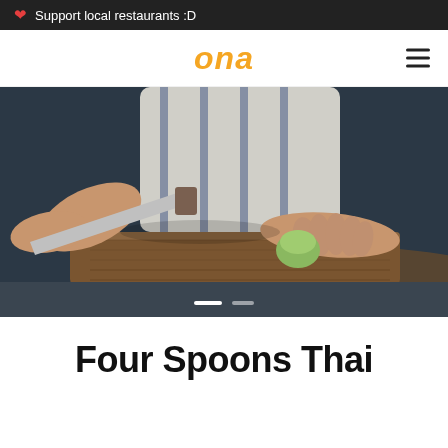Support local restaurants :D
[Figure (logo): ona logo in orange/yellow italic text with hamburger menu icon]
[Figure (photo): Chef's hands cutting a vegetable on a wooden cutting board with a large knife, wearing a striped apron, dark background]
Four Spoons Thai